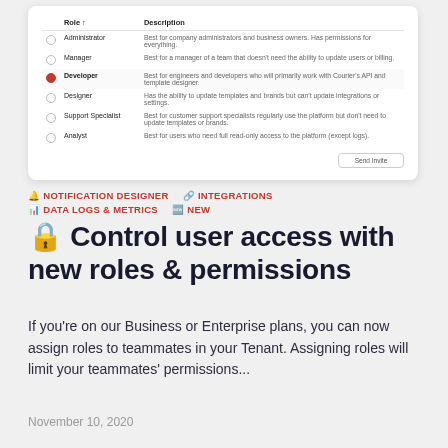[Figure (screenshot): A UI card showing a roles table with columns Role and Description. Rows: Administrator, Manager, Developer (selected with red radio button), Designer, Support Specialist, Analyst. Each row has a description. A 'Send Invite' button is at the bottom right.]
🔔 NOTIFICATION DESIGNER   🔗 INTEGRATIONS   📊 DATA LOGS & METRICS   🆕 NEW
🔒 Control user access with new roles & permissions
If you're on our Business or Enterprise plans, you can now assign roles to teammates in your Tenant. Assigning roles will limit your teammates' permissions...
November 10, 2020